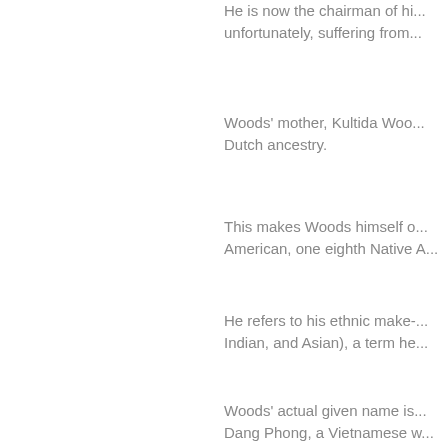He is now the chairman of hi... unfortunately, suffering from...
Woods' mother, Kultida Woo... Dutch ancestry.
This makes Woods himself o... American, one eighth Native A...
He refers to his ethnic make-... Indian, and Asian), a term he...
Woods' actual given name is... Dang Phong, a Vietnamese w...